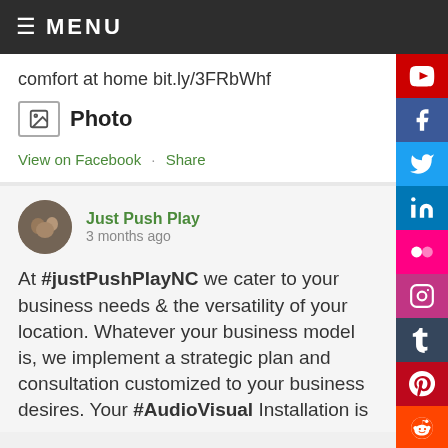≡ MENU
comfort at home bit.ly/3FRbWhf
[Figure (other): Photo icon box with image placeholder icon]
Photo
View on Facebook · Share
Just Push Play
3 months ago
At #justPushPlayNC we cater to your business needs & the versatility of your location. Whatever your business model is, we implement a strategic plan and consultation customized to your business desires. Your #AudioVisual Installation is